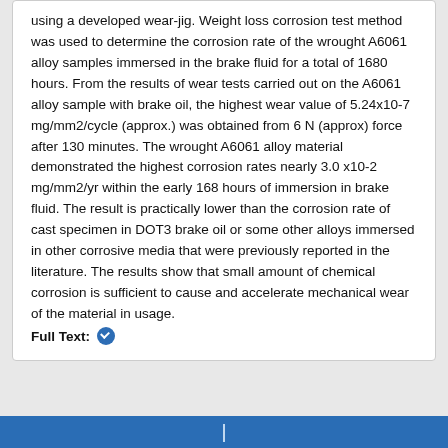using a developed wear-jig. Weight loss corrosion test method was used to determine the corrosion rate of the wrought A6061 alloy samples immersed in the brake fluid for a total of 1680 hours. From the results of wear tests carried out on the A6061 alloy sample with brake oil, the highest wear value of 5.24x10-7 mg/mm2/cycle (approx.) was obtained from 6 N (approx) force after 130 minutes. The wrought A6061 alloy material demonstrated the highest corrosion rates nearly 3.0 x10-2 mg/mm2/yr within the early 168 hours of immersion in brake fluid. The result is practically lower than the corrosion rate of cast specimen in DOT3 brake oil or some other alloys immersed in other corrosive media that were previously reported in the literature. The results show that small amount of chemical corrosion is sufficient to cause and accelerate mechanical wear of the material in usage.
Full Text: ✔